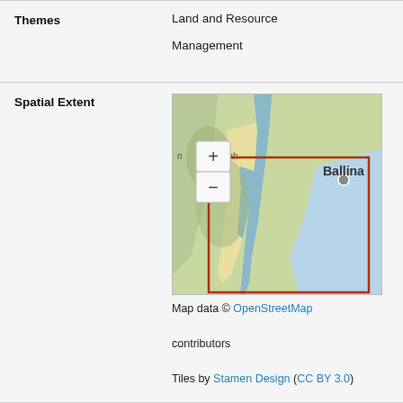| Field | Value |
| --- | --- |
| Themes | Land and Resource Management |
| Spatial Extent | [map image] Map data © OpenStreetMap contributors
Tiles by Stamen Design (CC BY 3.0) |